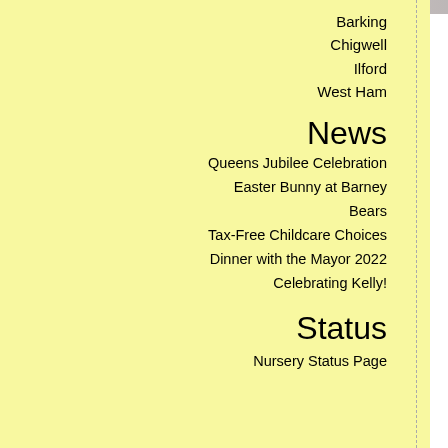Barking
Chigwell
Ilford
West Ham
News
Queens Jubilee Celebration
Easter Bunny at Barney Bears
Tax-Free Childcare Choices
Dinner with the Mayor 2022
Celebrating Kelly!
Status
Nursery Status Page
Barney Bears Ba
60 Upney Lane
Barking, Essex IG11 9LP
Tel: 020 8594 3366
[Figure (logo): Ofsted Good Provider badge - dark navy rounded rectangle logo with Ofsted branding and three orange star people figures]
Ofsted
8th March 2
Barney Bears nursery Barking was th in 2004. We are Ofsted registered offeri months to 2 years of age and for childre
Barney Bears Nursery Barking was la Ofsted on 8th March 2017 and we we nursery offers full and part-time places